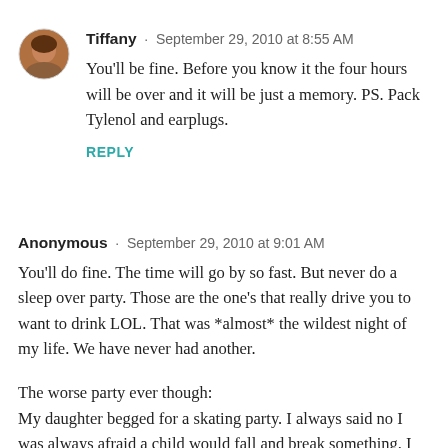[Figure (photo): Circular avatar photo of Tiffany, a woman with brown hair]
Tiffany · September 29, 2010 at 8:55 AM
You'll be fine. Before you know it the four hours will be over and it will be just a memory. PS. Pack Tylenol and earplugs.
REPLY
Anonymous · September 29, 2010 at 9:01 AM
You'll do fine. The time will go by so fast. But never do a sleep over party. Those are the one's that really drive you to want to drink LOL. That was *almost* the wildest night of my life. We have never had another.
The worse party ever though:
My daughter begged for a skating party. I always said no I was always afraid a child would fall and break something. I finally